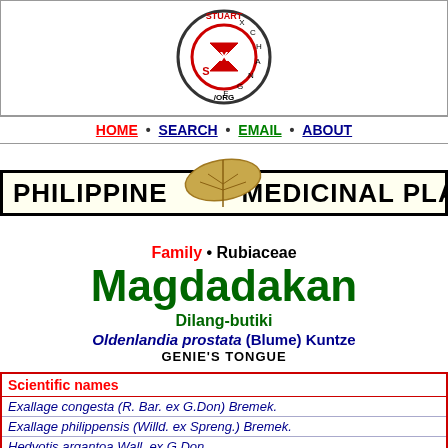[Figure (logo): StuartXchange.org circular logo with red S, hourglass, and text around the circle]
HOME • SEARCH • EMAIL • ABOUT
[Figure (illustration): Philippine Medicinal Plants banner with a dried leaf overlay]
Family • Rubiaceae
Magdadakan
Dilang-butiki
Oldenlandia prostata (Blume) Kuntze
GENIE'S TONGUE
| Scientific names |
| --- |
| Exallage congesta (R. Bar. ex G.Don) Bremek. |
| Exallage philippensis (Willd. ex Spreng.) Bremek. |
| Hedyotis argantoa Wall. ex G.Don |